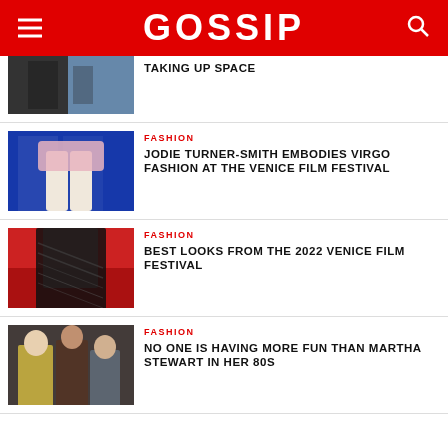GOSSIP
TAKING UP SPACE
FASHION
JODIE TURNER-SMITH EMBODIES VIRGO FASHION AT THE VENICE FILM FESTIVAL
FASHION
BEST LOOKS FROM THE 2022 VENICE FILM FESTIVAL
FASHION
NO ONE IS HAVING MORE FUN THAN MARTHA STEWART IN HER 80S